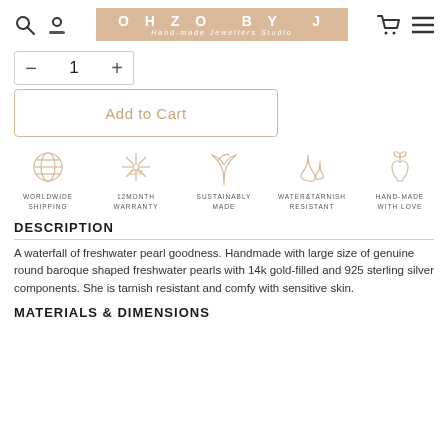OHZO BY J — Hand-made Jewellers Studio
1
Add to Cart
[Figure (infographic): Five feature icons: worldwide shipping (globe), 12 month warranty (star/sparkle with 12M), sustainably made (leaf/plant), water & tarnish resistant (water drops), hand-made with love (hand with flower)]
DESCRIPTION
A waterfall of freshwater pearl goodness. Handmade with large size of genuine round baroque shaped freshwater pearls with 14k gold-filled and 925 sterling silver components. She is tarnish resistant and comfy with sensitive skin.
MATERIALS & DIMENSIONS